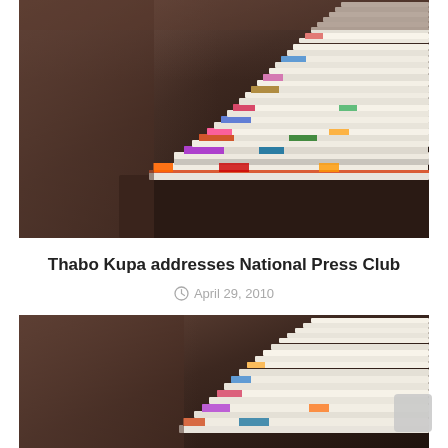[Figure (photo): Stack of colorful newspapers and magazines piled on a wooden surface, close-up photo with blurred background]
Thabo Kupa addresses National Press Club
April 29, 2010
[Figure (photo): Second instance of stack of colorful newspapers and magazines piled on a wooden surface, partially visible, same style photo]